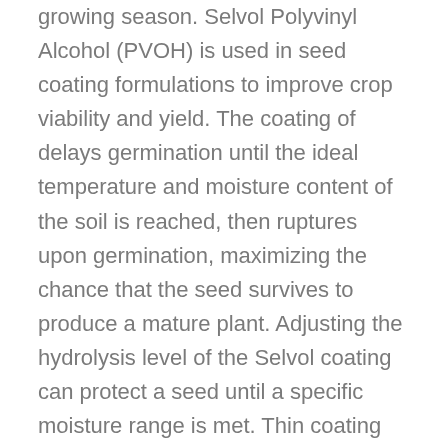growing season. Selvol Polyvinyl Alcohol (PVOH) is used in seed coating formulations to improve crop viability and yield. The coating of delays germination until the ideal temperature and moisture content of the soil is reached, then ruptures upon germination, maximizing the chance that the seed survives to produce a mature plant. Adjusting the hydrolysis level of the Selvol coating can protect a seed until a specific moisture range is met. Thin coating can also serve as a binder or “sticker” for fertilizers, fungicides, or other coating materials that improve crop yield.